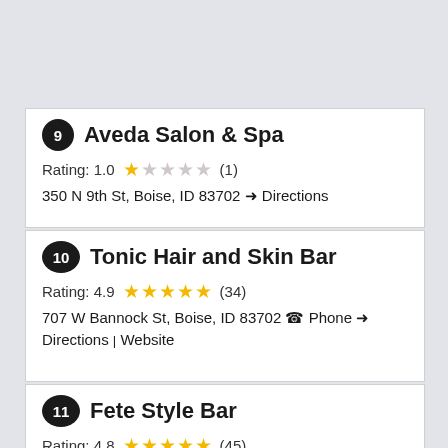9 Aveda Salon & Spa
Rating: 1.0 ★ (1)
350 N 9th St, Boise, ID 83702 → Directions
10 Tonic Hair and Skin Bar
Rating: 4.9 ★★★★★ (34)
707 W Bannock St, Boise, ID 83702 ☎ Phone → Directions | Website
11 Fete Style Bar
Rating: 4.8 ★★★★★ (45)
110 N 8th St, Boise, ID 83702 ☎ Phone → Directions